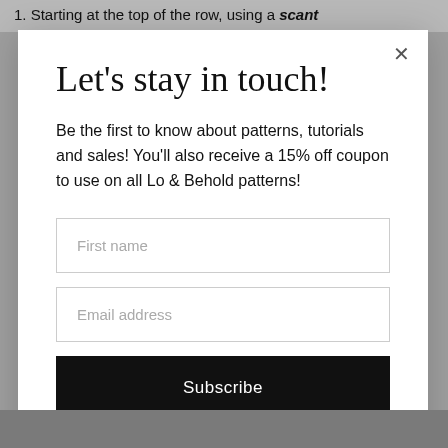1. Starting at the top of the row, using a scant
Let's stay in touch!
Be the first to know about patterns, tutorials and sales! You'll also receive a 15% off coupon to use on all Lo & Behold patterns!
First name
Email address
Subscribe